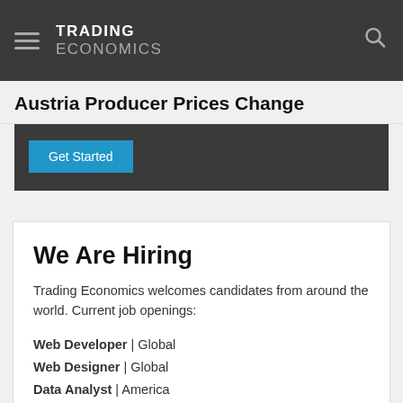TRADING ECONOMICS
Austria Producer Prices Change
[Figure (screenshot): Dark banner with a blue 'Get Started' button]
We Are Hiring
Trading Economics welcomes candidates from around the world. Current job openings:
Web Developer | Global
Web Designer | Global
Data Analyst | America
Apply Now